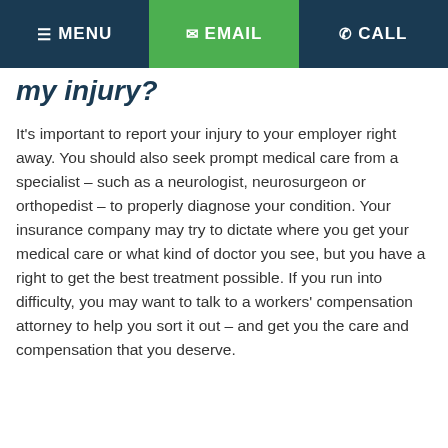≡ MENU  ✉ EMAIL  ☎ CALL
my injury?
It's important to report your injury to your employer right away. You should also seek prompt medical care from a specialist – such as a neurologist, neurosurgeon or orthopedist – to properly diagnose your condition. Your insurance company may try to dictate where you get your medical care or what kind of doctor you see, but you have a right to get the best treatment possible. If you run into difficulty, you may want to talk to a workers' compensation attorney to help you sort it out – and get you the care and compensation that you deserve.